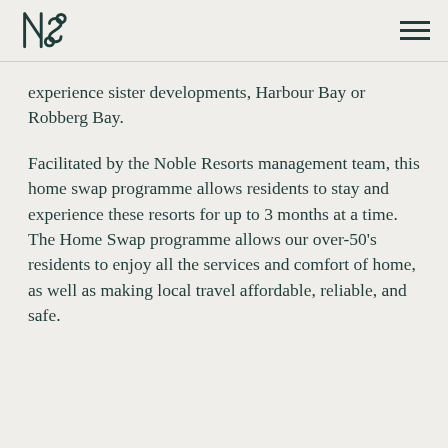Noble Resorts logo and navigation
experience sister developments, Harbour Bay or Robberg Bay.
Facilitated by the Noble Resorts management team, this home swap programme allows residents to stay and experience these resorts for up to 3 months at a time. The Home Swap programme allows our over-50’s residents to enjoy all the services and comfort of home, as well as making local travel affordable, reliable, and safe.